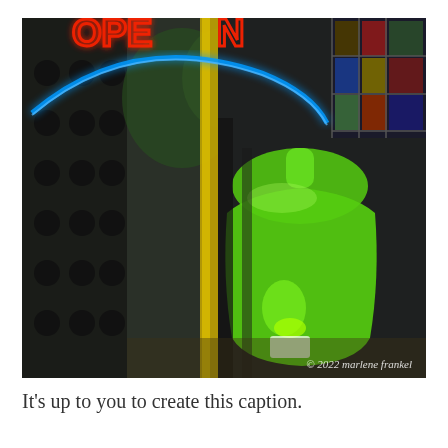[Figure (photo): A store window display showing a green translucent mannequin torso, with a neon 'OPEN' sign (red letters, blue circular border) reflected in the glass. Stained glass window visible in upper right, dark perforated wall panel on left, yellow vertical pole, trees reflected in glass. Watermark reads '© 2022 marlene frankel'.]
It's up to you to create this caption.